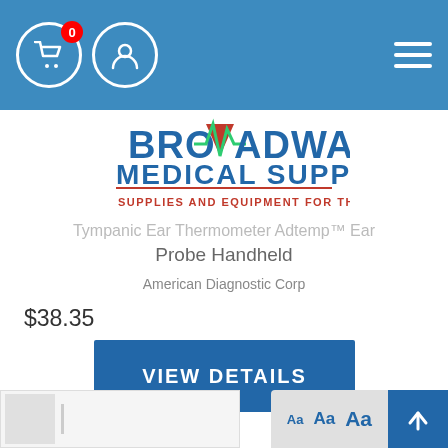[Figure (screenshot): Navigation bar with shopping cart icon (badge 0), user icon, and hamburger menu on blue background]
[Figure (logo): Broadway Medical Supply logo - BROADWAY in large blue letters with red triangle and green ECG line, MEDICAL SUPPLY below in blue, SUPPLIES AND EQUIPMENT FOR THE HOME in red below]
Tympanic Ear Thermometer Adtemp™ Ear Probe Handheld
American Diagnostic Corp
$38.35
VIEW DETAILS
[Figure (screenshot): Font size accessibility controls (Aa Aa Aa) and scroll-to-top button]